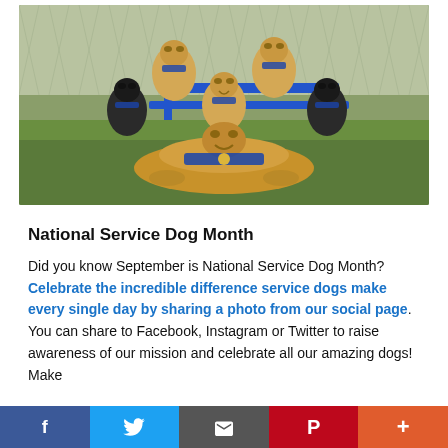[Figure (photo): Group photo of five Labrador Retrievers wearing blue service dog vests/harnesses, posed on green artificial turf near a blue picnic table with a chain-link fence in the background. Two yellow labs at top, one black lab and one yellow lab in the middle, one black lab on the right, and a large golden/yellow lab lying in front.]
National Service Dog Month
Did you know September is National Service Dog Month? Celebrate the incredible difference service dogs make every single day by sharing a photo from our social page. You can share to Facebook, Instagram or Twitter to raise awareness of our mission and celebrate all our amazing dogs! Make
f  |  (twitter bird)  |  (envelope)  |  P  |  +